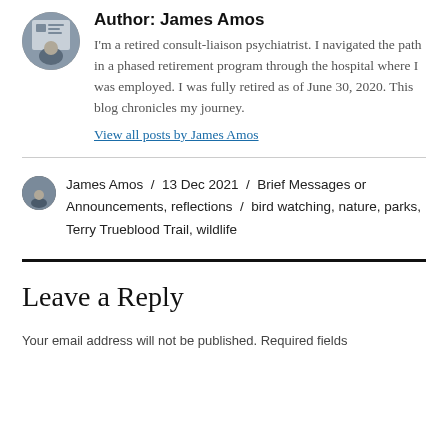Author: James Amos
I'm a retired consult-liaison psychiatrist. I navigated the path in a phased retirement program through the hospital where I was employed. I was fully retired as of June 30, 2020. This blog chronicles my journey.
View all posts by James Amos
James Amos / 13 Dec 2021 / Brief Messages or Announcements, reflections / bird watching, nature, parks, Terry Trueblood Trail, wildlife
Leave a Reply
Your email address will not be published. Required fields